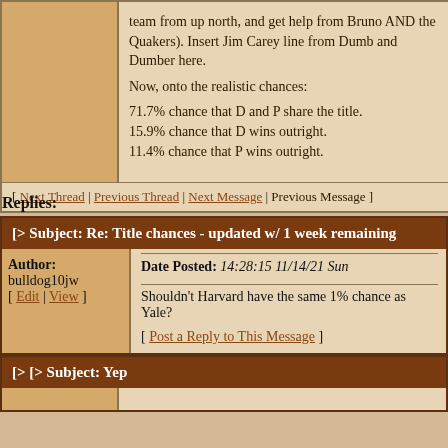team from up north, and get help from Bruno AND the Quakers). Insert Jim Carey line from Dumb and Dumber here.

Now, onto the realistic chances:

71.7% chance that D and P share the title.
15.9% chance that D wins outright.
11.4% chance that P wins outright.
[ Next Thread | Previous Thread | Next Message | Previous Message ]
Replies:
[> Subject: Re: Title chances - updated w/ 1 week remaining
Author: bulldog10jw [ Edit | View ]
Date Posted: 14:28:15 11/14/21 Sun
Shouldn't Harvard have the same 1% chance as Yale?

[ Post a Reply to This Message ]
[> [> Subject: Yep